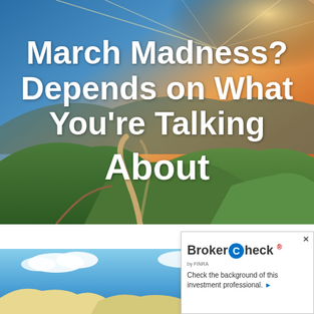[Figure (photo): Scenic mountain landscape with winding path, green hills, and dramatic sunset sky with orange and blue tones]
March Madness? Depends on What You're Talking About
[Figure (photo): Partial view of a second landscape photo showing blue sky and possibly mountains or wildlife at the bottom of the page]
[Figure (other): BrokerCheck by FINRA advertisement widget with text: Check the background of this investment professional.]